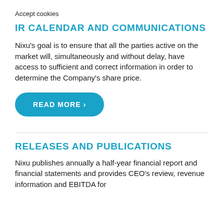Accept cookies
IR CALENDAR AND COMMUNICATIONS
Nixu's goal is to ensure that all the parties active on the market will, simultaneously and without delay, have access to sufficient and correct information in order to determine the Company's share price.
[Figure (other): READ MORE › button — teal rounded rectangle button with white uppercase text]
RELEASES AND PUBLICATIONS
Nixu publishes annually a half-year financial report and financial statements and provides CEO's review, revenue information and EBITDA for